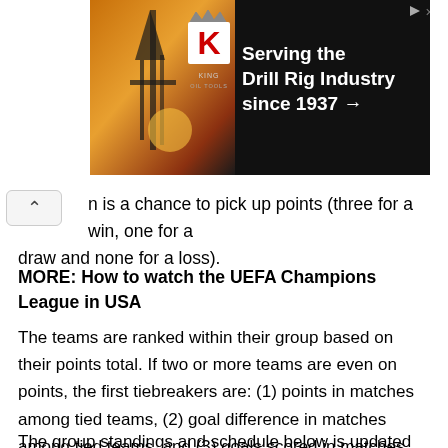[Figure (other): Advertisement banner for King Oil Tools: 'Serving the Drill Rig Industry since 1937 →' with logo on dark background with oil rig imagery]
...is a chance to pick up points (three for a win, one for a draw and none for a loss).
MORE: How to watch the UEFA Champions League in USA
The teams are ranked within their group based on their points total. If two or more teams are even on points, the first tiebreakers are: (1) points in matches among tied teams, (2) goal difference in matches among tied teams, and (3) goals scored in matches among tied teams. The complete list of tiebreakers follows below.
The group standings and schedule below is updated...